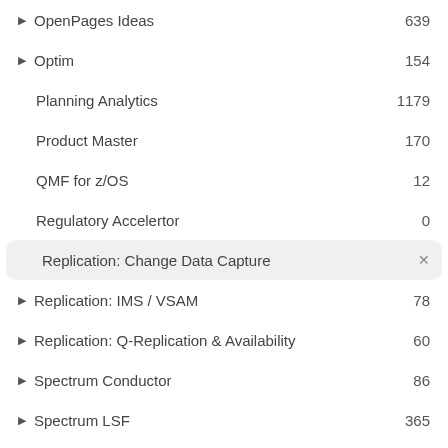▶ OpenPages Ideas  639
▶ Optim  154
Planning Analytics  1179
Product Master  170
QMF for z/OS  12
Regulatory Accelertor  0
Replication: Change Data Capture  ×
▶ Replication: IMS / VSAM  78
▶ Replication: Q-Replication & Availability  60
▶ Spectrum Conductor  86
▶ Spectrum LSF  365
▶ Spectrum Symphony  177
Speech Services  23